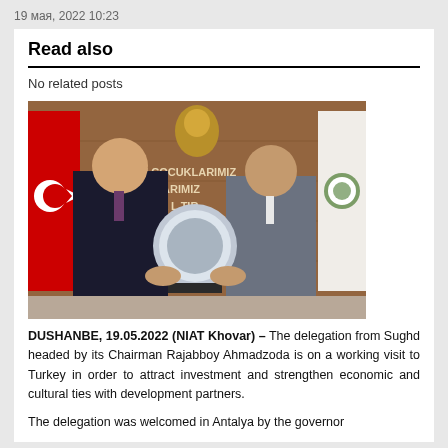19 мая, 2022 10:23
Read also
No related posts
[Figure (photo): Two men in suits holding a decorative plate/plaque together in an official setting with a Turkish flag on the left, a white flag with emblem on the right, and a wooden wall with Turkish text in the background.]
DUSHANBE, 19.05.2022 (NIAT Khovar) – The delegation from Sughd headed by its Chairman Rajabboy Ahmadzoda is on a working visit to Turkey in order to attract investment and strengthen economic and cultural ties with development partners.
The delegation was welcomed in Antalya by the governor